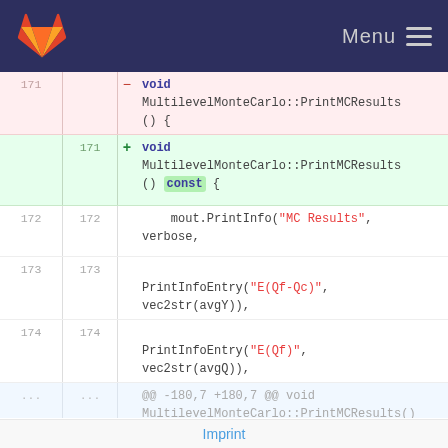Menu
[Figure (screenshot): GitLab code diff view showing changes to MultilevelMonteCarlo::PrintMCResults() function. Lines 171 show deletion of 'void MultilevelMonteCarlo::PrintMCResults() {' and addition of 'void MultilevelMonteCarlo::PrintMCResults() const {'. Lines 172-174 show context with PrintInfo and PrintInfoEntry calls. A hunk header shows @@ -180,7 +180,7 @@ void MultilevelMonteCarlo::PrintMCResults() {. Line 180 shows PrintInfoEntry("Used Samples", vec2str(samples));]
Imprint